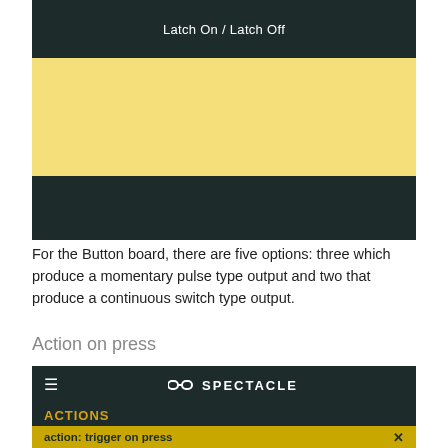[Figure (screenshot): Screenshot of a UI showing 'Latch On / Latch Off' label in a dark header bar, a yellow content area, and a dark footer bar]
For the Button board, there are five options: three which produce a momentary pulse type output and two that produce a continuous switch type output.
Action on press
[Figure (screenshot): Screenshot of Spectacle app interface showing hamburger menu, Spectacle logo, ACTIONS label in gold, and 'action: trigger on press' in a gold bar with X close button]